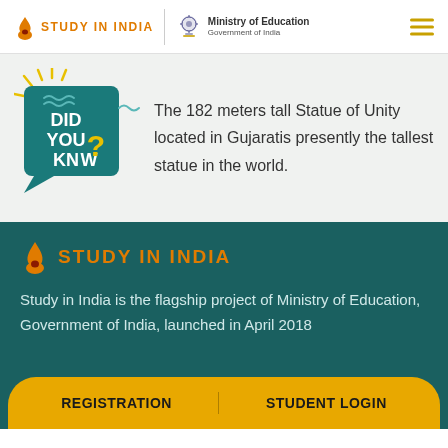[Figure (logo): Study in India logo with flame icon and Ministry of Education, Government of India emblem in header]
[Figure (illustration): Did You Know? graphic with teal speech bubble design and yellow question mark]
The 182 meters tall Statue of Unity located in Gujaratis presently the tallest statue in the world.
[Figure (logo): Study in India logo with flame icon in footer]
Study in India is the flagship project of Ministry of Education, Government of India, launched in April 2018
REGISTRATION
STUDENT LOGIN